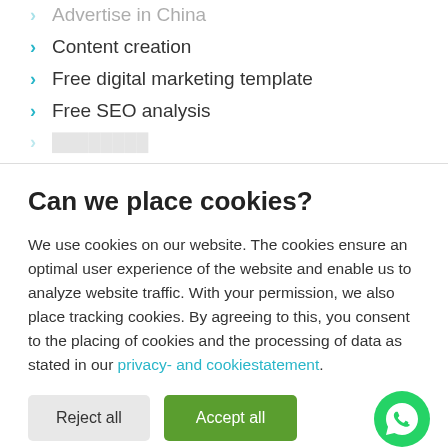Advertise in China
Content creation
Free digital marketing template
Free SEO analysis
(partially visible item)
Can we place cookies?
We use cookies on our website. The cookies ensure an optimal user experience of the website and enable us to analyze website traffic. With your permission, we also place tracking cookies. By agreeing to this, you consent to the placing of cookies and the processing of data as stated in our privacy- and cookiestatement.